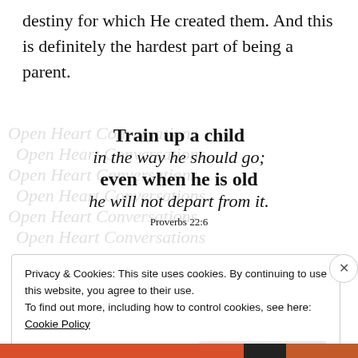destiny for which He created them. And this is definitely the hardest part of being a parent.
[Figure (illustration): Decorative watermark background with repeated cursive script text overlaid, showing a Bible verse quote: 'Train up a child in the way he should go; even when he is old he will not depart from it. Proverbs 22:6']
Privacy & Cookies: This site uses cookies. By continuing to use this website, you agree to their use.
To find out more, including how to control cookies, see here: Cookie Policy